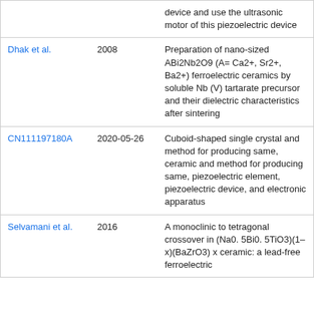|  |  |  |
| --- | --- | --- |
|  |  | device and use the ultrasonic motor of this piezoelectric device |
| Dhak et al. | 2008 | Preparation of nano-sized ABi2Nb2O9 (A= Ca2+, Sr2+, Ba2+) ferroelectric ceramics by soluble Nb (V) tartarate precursor and their dielectric characteristics after sintering |
| CN111197180A | 2020-05-26 | Cuboid-shaped single crystal and method for producing same, ceramic and method for producing same, piezoelectric element, piezoelectric device, and electronic apparatus |
| Selvamani et al. | 2016 | A monoclinic to tetragonal crossover in (Na0. 5Bi0. 5TiO3)(1–x)(BaZrO3) x ceramic: a lead-free ferroelectric |